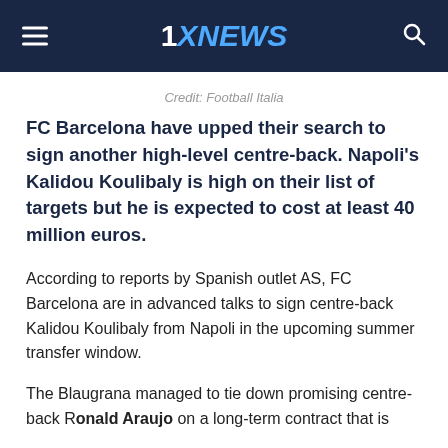1XNEWS
Credit: Football Italia
FC Barcelona have upped their search to sign another high-level centre-back. Napoli's Kalidou Koulibaly is high on their list of targets but he is expected to cost at least 40 million euros.
According to reports by Spanish outlet AS, FC Barcelona are in advanced talks to sign centre-back Kalidou Koulibaly from Napoli in the upcoming summer transfer window.
The Blaugrana managed to tie down promising centre-back Ronald Araujo on a long-term contract that is